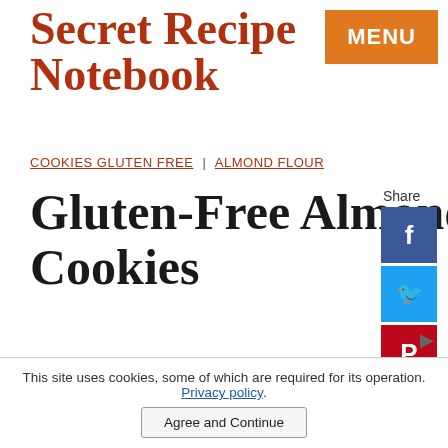Secret Recipe Notebook
MENU
COOKIES GLUTEN FREE | ALMOND FLOUR
Gluten-Free Almond Flour Cookies
Share
Made with almond flour these cookies are completely gluten-free, not overly sweet but so delicious and crisp. The dough is made in a few minutes!
This site uses cookies, some of which are required for its operation. Privacy policy.
Agree and Continue